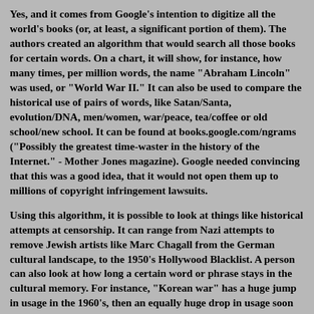Yes, and it comes from Google's intention to digitize all the world's books (or, at least, a significant portion of them). The authors created an algorithm that would search all those books for certain words. On a chart, it will show, for instance, how many times, per million words, the name "Abraham Lincoln" was used, or "World War II." It can also be used to compare the historical use of pairs of words, like Satan/Santa, evolution/DNA, men/women, war/peace, tea/coffee or old school/new school. It can be found at books.google.com/ngrams ("Possibly the greatest time-waster in the history of the Internet." - Mother Jones magazine). Google needed convincing that this was a good idea, that it would not open them up to millions of copyright infringement lawsuits.
Using this algorithm, it is possible to look at things like historical attempts at censorship. It can range from Nazi attempts to remove Jewish artists like Marc Chagall from the German cultural landscape, to the 1950's Hollywood Blacklist. A person can also look at how long a certain word or phrase stays in the cultural memory. For instance, "Korean war" has a huge jump in usage in the 1960's, then an equally huge drop in usage soon after, down to its present level of almost nothing.
The book also looks at the evolution of the English language. If we have pairs of words like drive/drove, what happened to